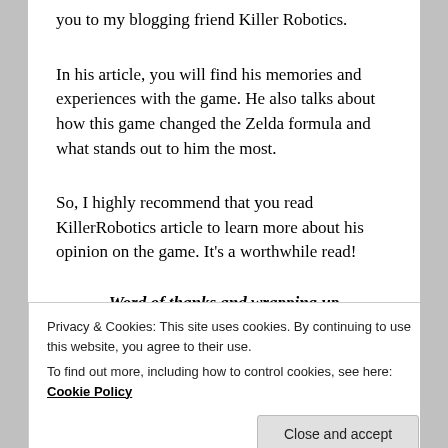you to my blogging friend Killer Robotics.
In his article, you will find his memories and experiences with the game. He also talks about how this game changed the Zelda formula and what stands out to him the most.
So, I highly recommend that you read KillerRobotics article to learn more about his opinion on the game. It's a worthwhile read!
Word of thanks and wrapping up
Privacy & Cookies: This site uses cookies. By continuing to use this website, you agree to their use. To find out more, including how to control cookies, see here: Cookie Policy
hear what you think! Any feedback is welcome since we